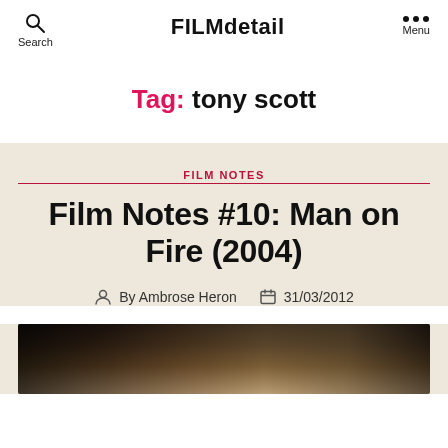FILMdetail — Search / Menu
Tag: tony scott
FILM NOTES
Film Notes #10: Man on Fire (2004)
By Ambrose Heron  31/03/2012
[Figure (photo): Dark film still from Man on Fire (2004), showing figures in low-key lighting]